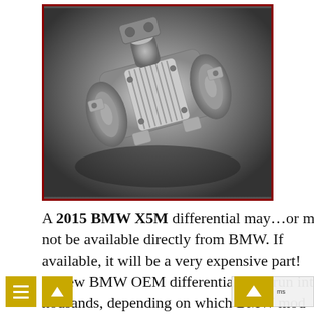[Figure (photo): Black and white photograph of a BMW X5M differential (rear differential assembly) placed on a dark surface, showing the ribbed housing and mounting points.]
A 2015 BMW X5M differential may…or may not be available directly from BMW. If available, it will be a very expensive part! New BMW OEM differentials can run into the thousands, depending on which BMW mod…